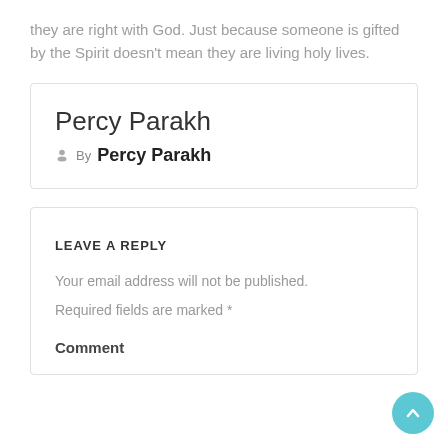they are right with God. Just because someone is gifted by the Spirit doesn't mean they are living holy lives.
Percy Parakh
By Percy Parakh
LEAVE A REPLY
Your email address will not be published.
Required fields are marked *
Comment